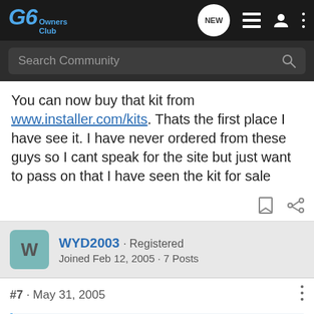G6 Owners Club — navigation bar with search
You can now buy that kit from www.installer.com/kits. Thats the first place I have see it. I have never ordered from these guys so I cant speak for the site but just want to pass on that I have seen the kit for sale
WYD2003 · Registered
Joined Feb 12, 2005 · 7 Posts
#7 · May 31, 2005
Trickstr888 said: